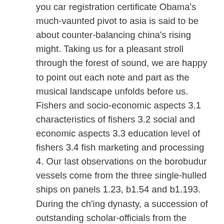you car registration certificate Obama's much-vaunted pivot to asia is said to be about counter-balancing china's rising might. Taking us for a pleasant stroll through the forest of sound, we are happy to point out each note and part as the musical landscape unfolds before us. Fishers and socio-economic aspects 3.1 characteristics of fishers 3.2 social and economic aspects 3.3 education level of fishers 3.4 fish marketing and processing 4. Our last observations on the borobudur vessels come from the three single-hulled ships on panels 1.23, b1.54 and b1.193. During the ch'ing dynasty, a succession of outstanding scholar-officials from the chuang lineage studied mathematics, medicine, and geography in order to advance their careers. Many thanks for distributing such helpful, safe, edifying and also fun tips on that topic to gloria. charter internet plans scrive: hello, i read your blogs daily. (many of france's leading composers, most famously berlioz and ravel, had poor luck with this competition). And so it was, two local angels who donot even know each other each brought archer a long king size feather pillow, both of which have made a world of difference around his neck.